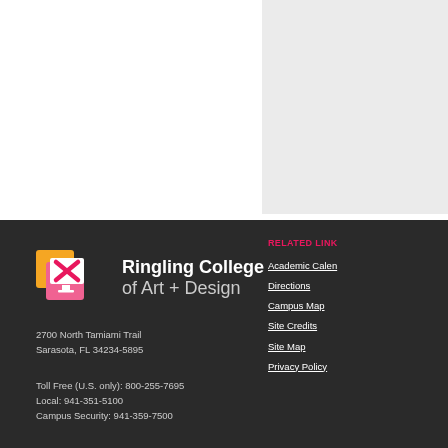[Figure (other): Light gray placeholder box in the upper right area of the page]
Ringling College of Art + Design
2700 North Tamiami Trail
Sarasota, FL 34234-5895
Toll Free (U.S. only): 800-255-7695
Local: 941-351-5100
Campus Security: 941-359-7500
RELATED LINKS
Academic Calendar
Directions
Campus Map
Site Credits
Site Map
Privacy Policy